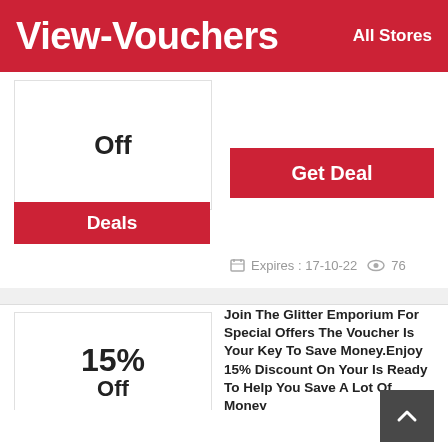View-Vouchers   All Stores
Off
Deals
Get Deal
Expires : 17-10-22   76
15% Off
Deals
Join The Glitter Emporium For Special Offers The Voucher Is Your Key To Save Money.Enjoy 15% Discount On Your Is Ready To Help You Save A Lot Of Money
Get Deal
Expires : 17-10-22   66